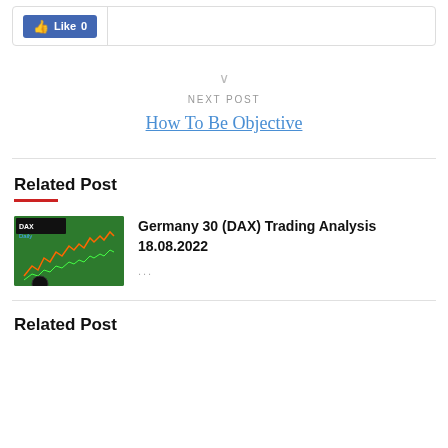[Figure (screenshot): Facebook Like button showing 'Like 0' in a box with a divider line]
NEXT POST
How To Be Objective
Related Post
[Figure (photo): Thumbnail image of DAX Daily trading chart on green background]
Germany 30 (DAX) Trading Analysis 18.08.2022
...
Related Post